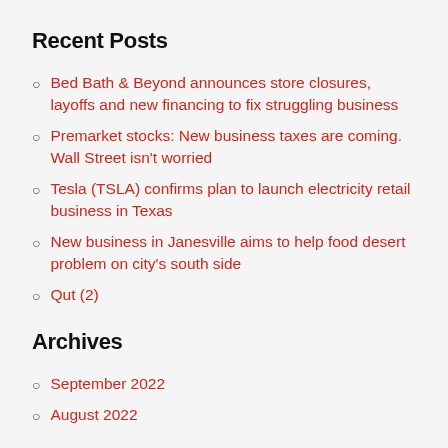Recent Posts
Bed Bath & Beyond announces store closures, layoffs and new financing to fix struggling business
Premarket stocks: New business taxes are coming. Wall Street isn't worried
Tesla (TSLA) confirms plan to launch electricity retail business in Texas
New business in Janesville aims to help food desert problem on city's south side
Qut (2)
Archives
September 2022
August 2022